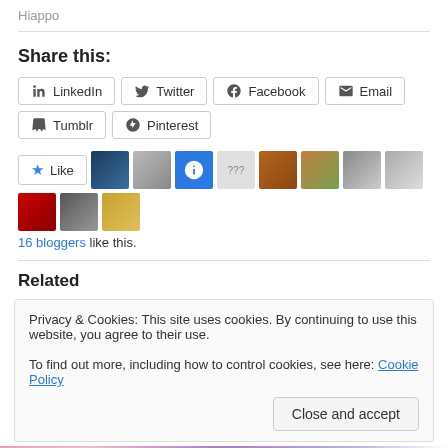Hiappo
Share this:
LinkedIn  Twitter  Facebook  Email  Tumblr  Pinterest
Like  [blogger avatars]  16 bloggers like this.
Related
Privacy & Cookies: This site uses cookies. By continuing to use this website, you agree to their use.
To find out more, including how to control cookies, see here: Cookie Policy
Close and accept